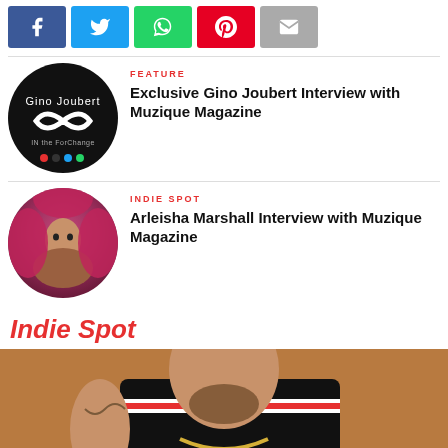[Figure (infographic): Social media share buttons: Facebook (blue), Twitter (light blue), WhatsApp (green), Pinterest (red), Email (gray)]
FEATURE
Exclusive Gino Joubert Interview with Muzique Magazine
[Figure (photo): Circular thumbnail of Gino Joubert logo: black background with infinity symbol and text 'Gino Joubert' and 'IN the ForChange']
INDIE SPOT
Arleisha Marshall Interview with Muzique Magazine
[Figure (photo): Circular thumbnail of Arleisha Marshall: woman with pink/red hair and feathers]
Indie Spot
[Figure (photo): Large photo of a man wearing a black and red basketball jersey with gold chain and tattoos]